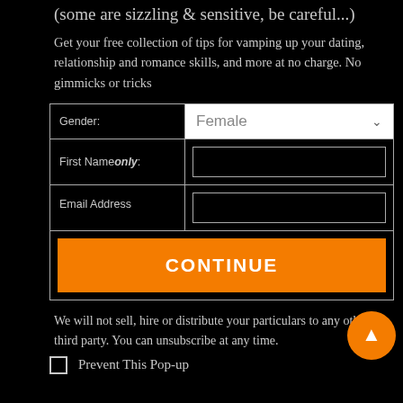(some are sizzling & sensitive, be careful...)
Get your free collection of tips for vamping up your dating, relationship and romance skills, and more at no charge. No gimmicks or tricks
| Gender: | Female |
| --- | --- |
| First Name only: |  |
| Email Address |  |
| CONTINUE |  |
We will not sell, hire or distribute your particulars to any other third party. You can unsubscribe at any time.
Prevent This Pop-up